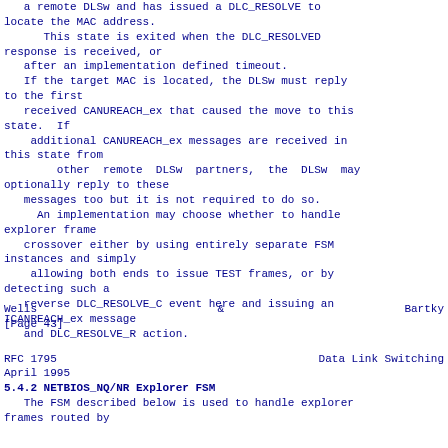a remote DLSw and has issued a DLC_RESOLVE to
locate the MAC address.
      This state is exited when the DLC_RESOLVED
response is received, or
   after an implementation defined timeout.
   If the target MAC is located, the DLSw must reply
to the first
   received CANUREACH_ex that caused the move to this
state.  If
    additional CANUREACH_ex messages are received in
this state from
        other  remote  DLSw  partners,  the  DLSw  may
optionally reply to these
   messages too but it is not required to do so.
     An implementation may choose whether to handle
explorer frame
   crossover either by using entirely separate FSM
instances and simply
    allowing both ends to issue TEST frames, or by
detecting such a
   reverse DLC_RESOLVE_C event here and issuing an
ICANREACH_ex message
   and DLC_RESOLVE_R action.
Wells                    &                    Bartky
[Page 43]
RFC 1795                                Data Link Switching
April 1995
5.4.2  NETBIOS_NQ/NR Explorer FSM
The FSM described below is used to handle explorer
frames routed by